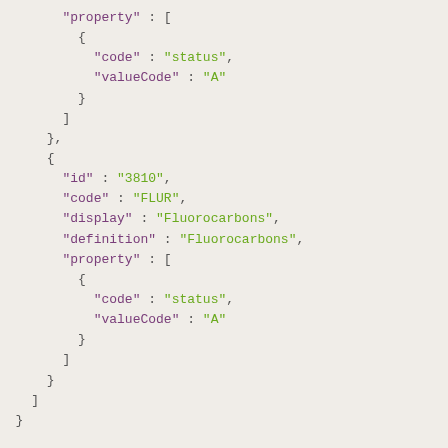JSON code snippet showing property array with code/valueCode fields and an object with id 3810, code FLUR, display Fluorocarbons, definition Fluorocarbons, and property array